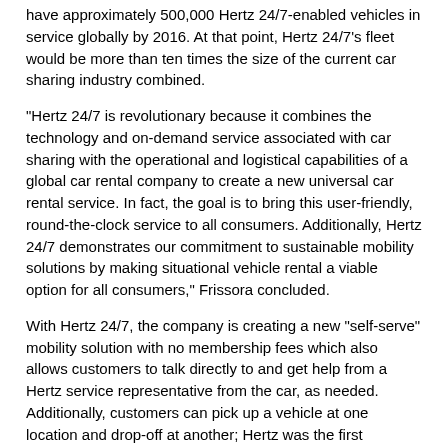have approximately 500,000 Hertz 24/7-enabled vehicles in service globally by 2016. At that point, Hertz 24/7's fleet would be more than ten times the size of the current car sharing industry combined.
“Hertz 24/7 is revolutionary because it combines the technology and on-demand service associated with car sharing with the operational and logistical capabilities of a global car rental company to create a new universal car rental service. In fact, the goal is to bring this user-friendly, round-the-clock service to all consumers. Additionally, Hertz 24/7 demonstrates our commitment to sustainable mobility solutions by making situational vehicle rental a viable option for all consumers,” Frissora concluded.
With Hertz 24/7, the company is creating a new “self-serve” mobility solution with no membership fees which also allows customers to talk directly to and get help from a Hertz service representative from the car, as needed. Additionally, customers can pick up a vehicle at one location and drop-off at another; Hertz was the first company to introduce the “one-way rental” concept in car sharing in 2009.